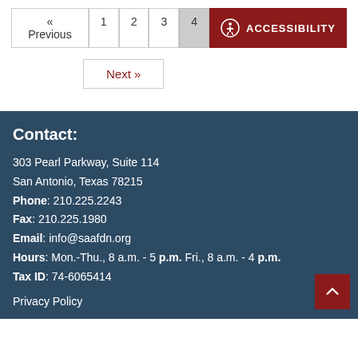« Previous 1 2 3 4 ACCESSIBILITY
Next »
Contact:
303 Pearl Parkway, Suite 114
San Antonio, Texas 78215
Phone: 210.225.2243
Fax: 210.225.1980
Email: info@saafdn.org
Hours: Mon.-Thu., 8 a.m. - 5 p.m. Fri., 8 a.m. - 4 p.m.
Tax ID: 74-6065414
Privacy Policy